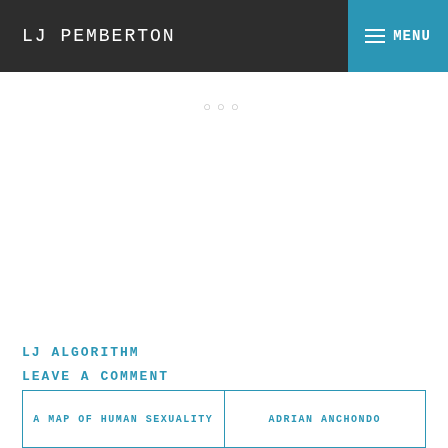LJ PEMBERTON
○○○
LJ ALGORITHM
LEAVE A COMMENT
A MAP OF HUMAN SEXUALITY
ADRIAN ANCHONDO